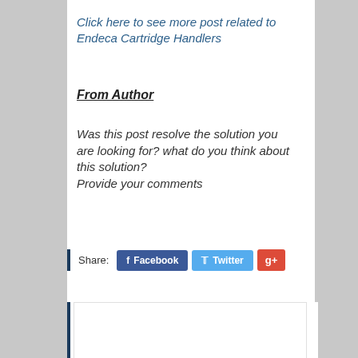Click here to see more post related to Endeca Cartridge Handlers
From Author
Was this post resolve the solution you are looking for? what do you think about this solution?
Provide your comments
Share: Facebook Twitter g+